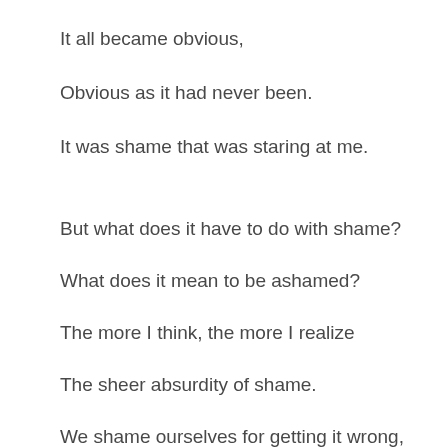It all became obvious,
Obvious as it had never been.
It was shame that was staring at me.
But what does it have to do with shame?
What does it mean to be ashamed?
The more I think, the more I realize
The sheer absurdity of shame.
We shame ourselves for getting it wrong,